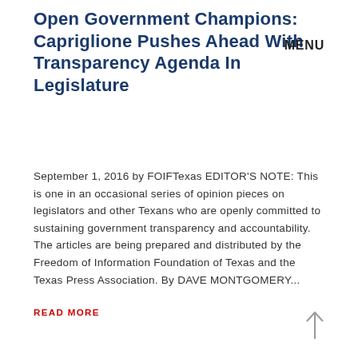Open Government Champions: Capriglione Pushes Ahead With Transparency Agenda In Legislature
MENU
September 1, 2016 by FOIFTexas EDITOR'S NOTE: This is one in an occasional series of opinion pieces on legislators and other Texans who are openly committed to sustaining government transparency and accountability. The articles are being prepared and distributed by the Freedom of Information Foundation of Texas and the Texas Press Association. By DAVE MONTGOMERY...
READ MORE